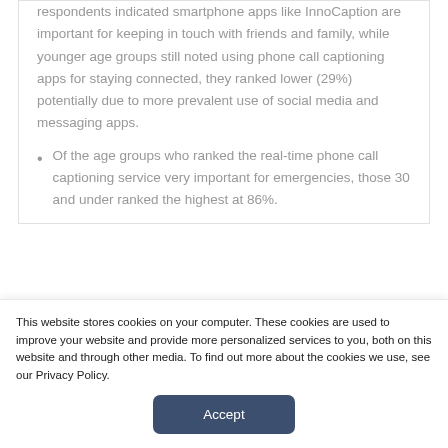respondents indicated smartphone apps like InnoCaption are important for keeping in touch with friends and family, while younger age groups still noted using phone call captioning apps for staying connected, they ranked lower (29%) potentially due to more prevalent use of social media and messaging apps.
Of the age groups who ranked the real-time phone call captioning service very important for emergencies, those 30 and under ranked the highest at 86%.
This website stores cookies on your computer. These cookies are used to improve your website and provide more personalized services to you, both on this website and through other media. To find out more about the cookies we use, see our Privacy Policy.